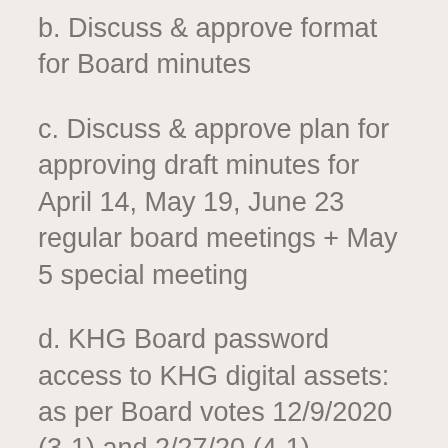b. Discuss & approve format for Board minutes
c. Discuss & approve plan for approving draft minutes for April 14, May 19, June 23 regular board meetings + May 5 special meeting
d. KHG Board password access to KHG digital assets:  as per Board votes 12/9/2020 (3-1) and 2/27/20 (4-1)
e. Discuss & approve KHG Digital